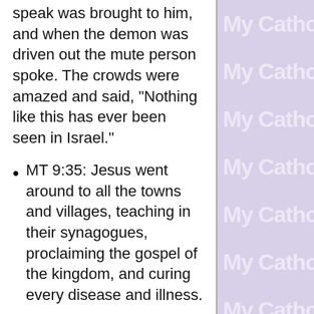speak was brought to him, and when the demon was driven out the mute person spoke. The crowds were amazed and said, "Nothing like this has ever been seen in Israel."
MT 9:35: Jesus went around to all the towns and villages, teaching in their synagogues, proclaiming the gospel of the kingdom, and curing every disease and illness.
MT 12:14-16: But the Pharisees went out and took counsel against him to put him to death. When Jesus realized this, he withdrew from that place. Many (people) followed him, and he cured them all, but he warned them not to make him known.
MT 12:22: Then they brought to